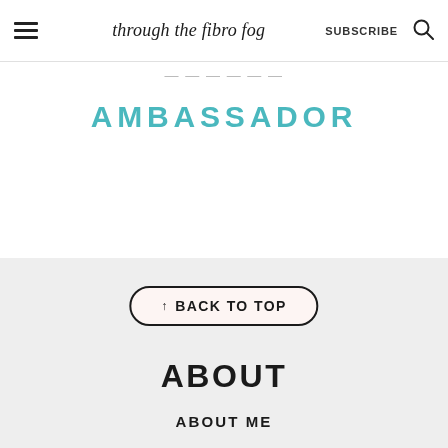through the fibro fog  SUBSCRIBE
AMBASSADOR
↑ BACK TO TOP
ABOUT
ABOUT ME